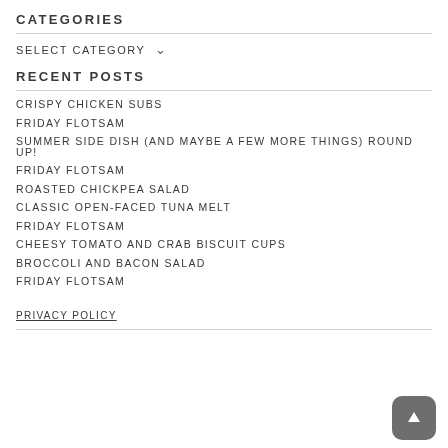CATEGORIES
SELECT CATEGORY
RECENT POSTS
CRISPY CHICKEN SUBS
FRIDAY FLOTSAM
SUMMER SIDE DISH (AND MAYBE A FEW MORE THINGS) ROUND UP!
FRIDAY FLOTSAM
ROASTED CHICKPEA SALAD
CLASSIC OPEN-FACED TUNA MELT
FRIDAY FLOTSAM
CHEESY TOMATO AND CRAB BISCUIT CUPS
BROCCOLI AND BACON SALAD
FRIDAY FLOTSAM
PRIVACY POLICY
[Figure (illustration): Scroll-to-top button with upward arrow icon, rounded rectangle, gray background]